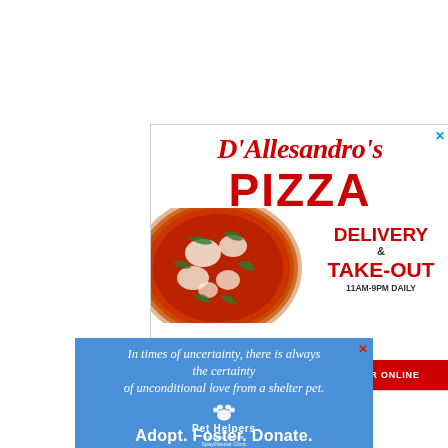[Figure (illustration): D'Allesandro's Pizza advertisement. Large red cursive script 'D'Allesandro's' at top, bold red 'PIZZA' text below, pizza image on left, 'DELIVERY & TAKE-OUT 11AM-9PM DAILY' text on right, red banner at bottom reading 'DOWNTOWN & SUMMERVILLE • ORDER ONLINE']
[Figure (illustration): Pet Helpers adoption center advertisement on blue background. Text: 'In times of uncertainty, there is always the certainty of unconditional love from a shelter pet.' Pet Helpers logo with paw print. 'Adopt. Foster. Donate.' text at bottom.]